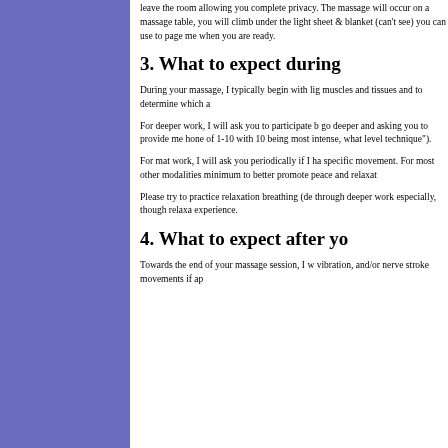leave the room allowing you complete privacy. The massage will occur on a massage table, you will climb under the light sheet & blanket (can't see) you can use to page me when you are ready.
3. What to expect during
During your massage, I typically begin with light muscles and tissues and to determine which a
For deeper work, I will ask you to participate by go deeper and asking you to provide me honest of 1-10 with 10 being most intense, what level technique").
For mat work, I will ask you periodically if I have specific movement. For most other modalities minimum to better promote peace and relaxat
Please try to practice relaxation breathing (de through deeper work especially, though relaxa experience.
4. What to expect after yo
Towards the end of your massage session, I will vibration, and/or nerve stroke movements if ap